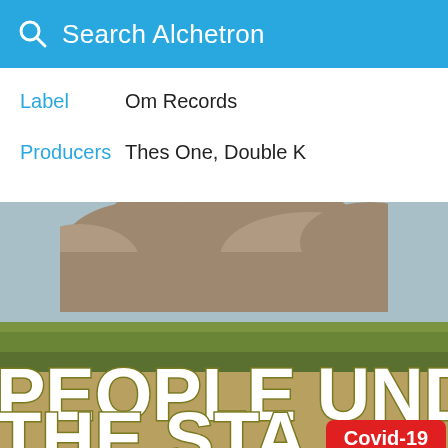Search Alchetron
Label  Om Records
Producers  Thes One, Double K
[Figure (photo): Album cover for People Under The Stars showing a Los Angeles cityscape with palm trees, stylized cloud shapes in grey/brown tones, a light blue sky background, and large white block lettering reading PEOPLE UNDER THE STA (cropped). A red Covid-19 badge is visible in the bottom right corner.]
Covid-19